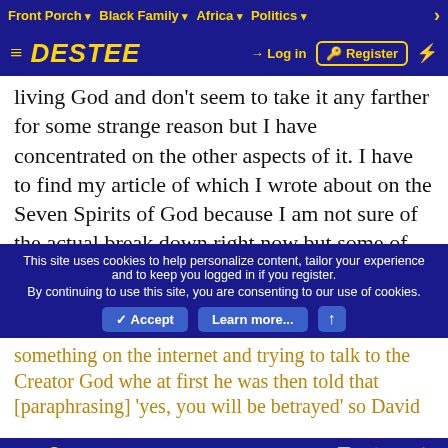Front Porch ▾   Black Family ▾   Africa ▾   Politics ▾   >
≡ DESTEE   → Log in   🔑 Register   ⚡
living God and don't seem to take it any farther for some strange reason but I have concentrated on the other aspects of it. I have to find my article of which I wrote about on the Seven Spirits of God because I am not sure of the actual break down right now but some of the main elements are 'water', 'fire', 'blood', 'oil' and etc. and I can see a correlation to what this author wrote about in regards to 'the white stone' and 'the red stone' and etc.
This site uses cookies to help personalize content, tailor your experience and to keep you logged in if you register.
By continuing to use this site, you are consenting to our use of cookies.
something on the internet and trying to talk to the Creator God whe at first he was then told that [paraphrasing] 'yes, you will be betrayed' so David
→  🔑   ✉  📄  🔒  ℹ  🏠